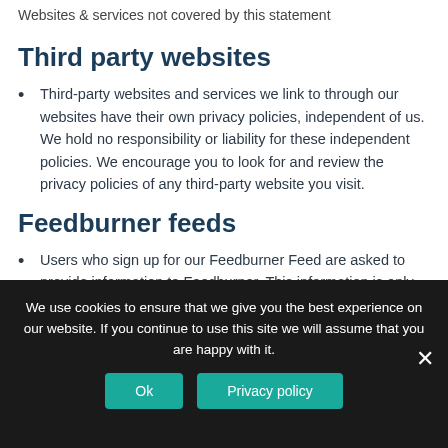Websites & services not covered by this statement
Third party websites
Third-party websites and services we link to through our websites have their own privacy policies, independent of us. We hold no responsibility or liability for these independent policies. We encourage you to look for and review the privacy policies of any third-party website you visit.
Feedburner feeds
Users who sign up for our Feedburner Feed are asked to provide information to Feedburner. This information is only available to us through Feedburner and is subject
We use cookies to ensure that we give you the best experience on our website. If you continue to use this site we will assume that you are happy with it.